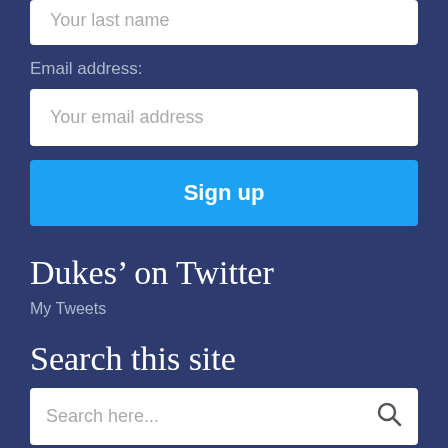Your last name
Email address:
Your email address
Sign up
Dukes’ on Twitter
My Tweets
Search this site
Search here...